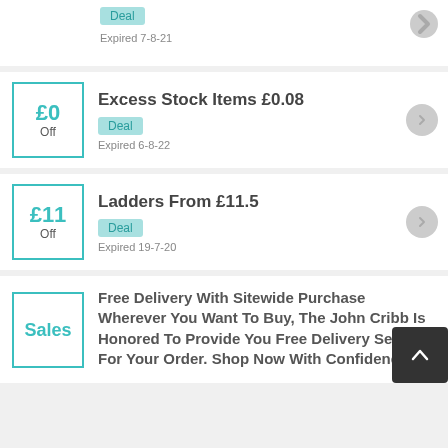[Figure (screenshot): Partial deal card at top showing Deal badge and Expired 7-8-21]
Excess Stock Items £0.08
£0 Off
Deal
Expired 6-8-22
Ladders From £11.5
£11 Off
Deal
Expired 19-7-20
Free Delivery With Sitewide Purchase Wherever You Want To Buy, The John Cribb Is Honored To Provide You Free Delivery Service For Your Order. Shop Now With Confidence
Sales